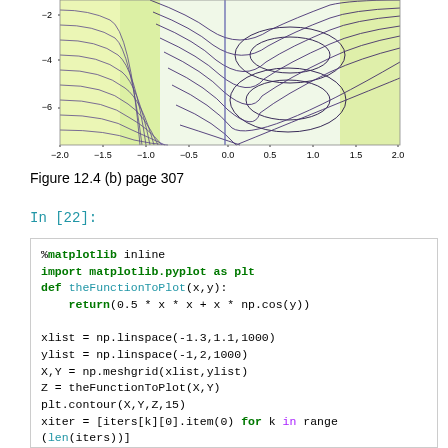[Figure (continuous-plot): Contour plot showing contour lines of a function over x range -2.0 to 2.0 and y range approximately -6 to -2. Colorful contour lines ranging from yellow-green to dark purple.]
Figure 12.4 (b) page 307
In [22]:
%matplotlib inline
import matplotlib.pyplot as plt
def theFunctionToPlot(x,y):
    return(0.5 * x * x + x * np.cos(y))

xlist = np.linspace(-1.3,1.1,1000)
ylist = np.linspace(-1,2,1000)
X,Y = np.meshgrid(xlist,ylist)
Z = theFunctionToPlot(X,Y)
plt.contour(X,Y,Z,15)
xiter = [iters[k][0].item(0) for k in range
(len(iters))]
yiter = [iters[k][0].item(1) for k in range
(len(iters))]
plt.plot(xiter,yiter, linewidth=5, color
='r')